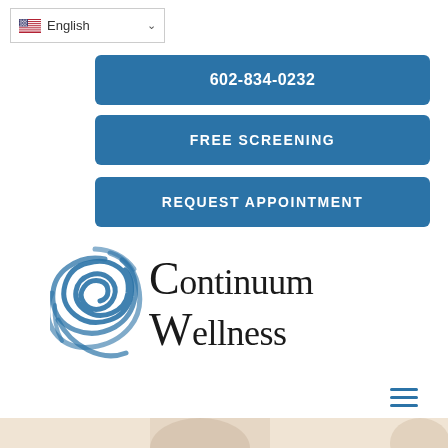[Figure (screenshot): Language selector dropdown showing US flag and 'English' text with chevron]
602-834-0232
FREE SCREENING
REQUEST APPOINTMENT
[Figure (logo): Continuum Wellness logo with blue spiral/swirl graphic and serif text]
[Figure (photo): Bottom portion of page showing partial photo of young man with short hair, blurred background, person partially visible on right side]